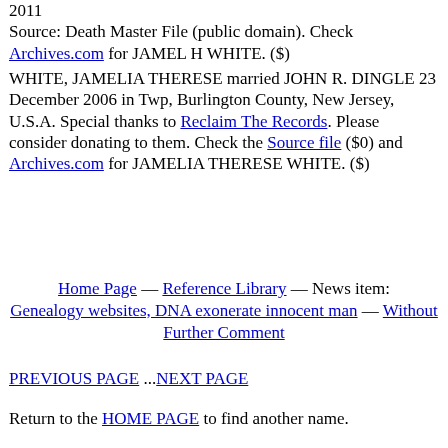2011
Source: Death Master File (public domain). Check Archives.com for JAMEL H WHITE. ($)
WHITE, JAMELIA THERESE married JOHN R. DINGLE 23 December 2006 in Twp, Burlington County, New Jersey, U.S.A. Special thanks to Reclaim The Records. Please consider donating to them. Check the Source file ($0) and Archives.com for JAMELIA THERESE WHITE. ($)
Home Page — Reference Library — News item: Genealogy websites, DNA exonerate innocent man — Without Further Comment
PREVIOUS PAGE ...NEXT PAGE
Return to the HOME PAGE to find another name.